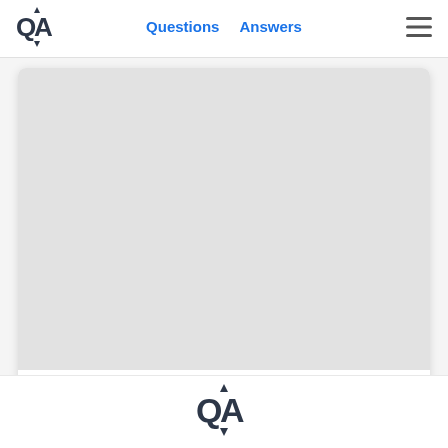QA  Questions  Answers
[Figure (other): Light gray placeholder image area inside a card]
Which is the Best Pocket Wallet for Men?
[Figure (logo): QA logo mark at bottom of page]